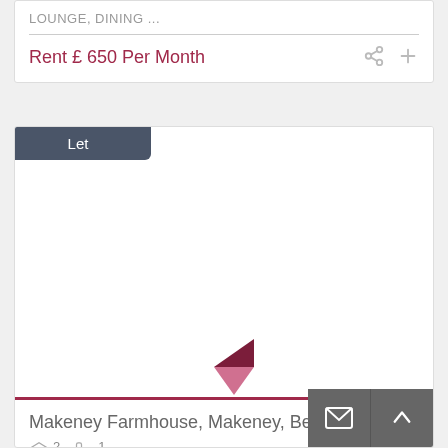LOUNGE, DINING ...
Rent £ 650 Per Month
[Figure (screenshot): Property listing card with Let badge, property image area with a triangular logo/branding mark in dark red and pink, and property details below]
Makeney Farmhouse, Makeney, Belper
2 beds, 1 bath